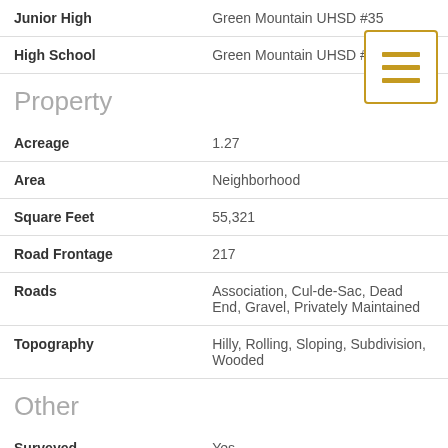| Field | Value |
| --- | --- |
| Junior High | Green Mountain UHSD #35 |
| High School | Green Mountain UHSD #3 |
Property
| Field | Value |
| --- | --- |
| Acreage | 1.27 |
| Area | Neighborhood |
| Square Feet | 55,321 |
| Road Frontage | 217 |
| Roads | Association, Cul-de-Sac, Dead End, Gravel, Privately Maintained |
| Topography | Hilly, Rolling, Sloping, Subdivision, Wooded |
Other
| Field | Value |
| --- | --- |
| Surveyed | Yes |